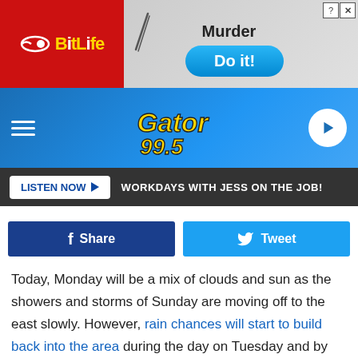[Figure (screenshot): BitLife and Murder 'Do it!' advertisement banner]
[Figure (logo): Gator 99.5 radio station navigation bar with hamburger menu and play button]
LISTEN NOW ▶  WORKDAYS WITH JESS ON THE JOB!
Share
Tweet
Today, Monday will be a mix of clouds and sun as the showers and storms of Sunday are moving off to the east slowly. However, rain chances will start to build back into the area during the day on Tuesday and by Wednesday some of